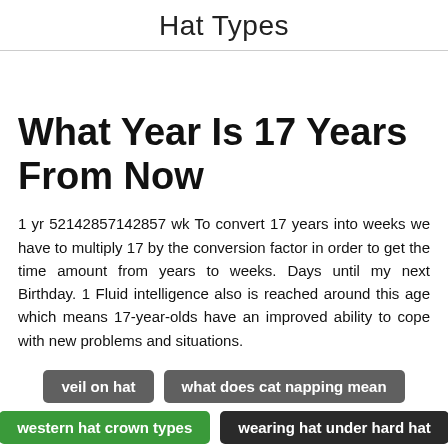Hat Types
What Year Is 17 Years From Now
1 yr 52142857142857 wk To convert 17 years into weeks we have to multiply 17 by the conversion factor in order to get the time amount from years to weeks. Days until my next Birthday. 1 Fluid intelligence also is reached around this age which means 17-year-olds have an improved ability to cope with new problems and situations.
veil on hat
what does cat napping mean
western hat crown types
wearing hat under hard hat